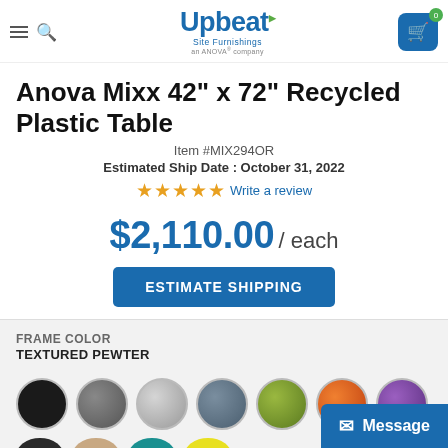Upbeat Site Furnishings — an ANOVA® company
Anova Mixx 42" x 72" Recycled Plastic Table
Item #MIX294OR
Estimated Ship Date : October 31, 2022
☆☆☆☆☆ Write a review
$2,110.00 / each
ESTIMATE SHIPPING
FRAME COLOR
TEXTURED PEWTER
[Figure (other): Color swatches: black, dark gray, light gray, slate blue-gray, olive green, orange, purple (row 1); partial row 2 with dark, tan, teal, and yellow swatches visible]